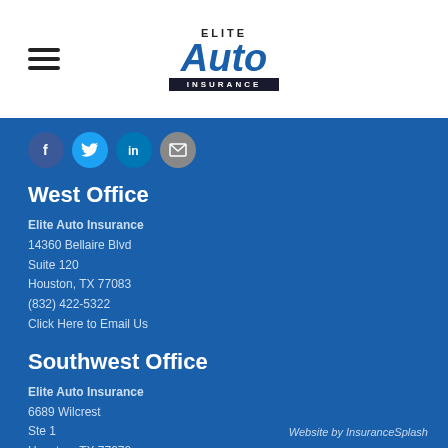[Figure (logo): Elite Auto Insurance logo with hamburger menu icon on the left]
[Figure (infographic): Social media icons: Facebook (dark blue circle), Twitter (light blue circle), LinkedIn (blue circle), Email (gray circle)]
West Office
Elite Auto Insurance
14360 Bellaire Blvd
Suite 120
Houston, TX 77083
(832) 422-5322
Click Here to Email Us
Southwest Office
Elite Auto Insurance
6689 Wilcrest
Ste 1
Houston, TX  77072
(832) 422-5322
Click Here to Email Us
Website by InsuranceSplash